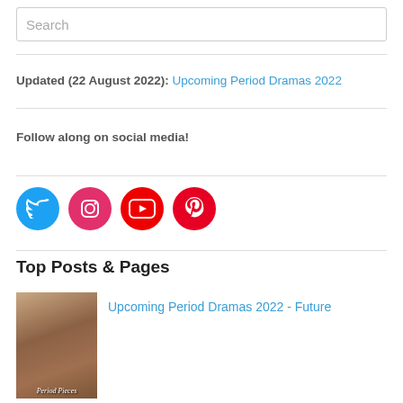Search
Updated (22 August 2022): Upcoming Period Dramas 2022
Follow along on social media!
[Figure (infographic): Social media icons: Twitter (blue), Instagram (pink/red), YouTube (red), Pinterest (red)]
Top Posts & Pages
[Figure (photo): Thumbnail image for Upcoming Period Dramas 2022 - Future, showing a romantic scene with text 'Period Pieces']
Upcoming Period Dramas 2022 - Future